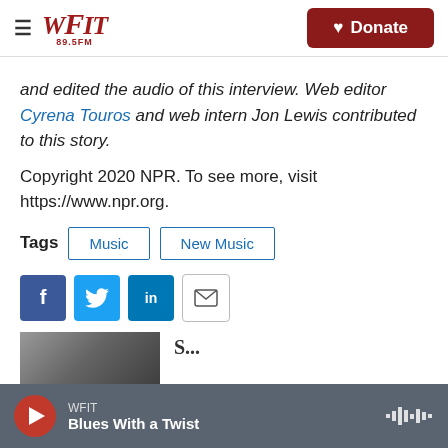WFIT 89.5FM — Donate
and edited the audio of this interview. Web editor Cyrena Touros and web intern Jon Lewis contributed to this story.
Copyright 2020 NPR. To see more, visit https://www.npr.org.
Tags  Music  New Music
[Figure (other): Social share buttons: Facebook, Twitter, LinkedIn, Email]
[Figure (photo): Partial thumbnail image of a person for a related story]
WFIT / Blues With a Twist — audio player bar